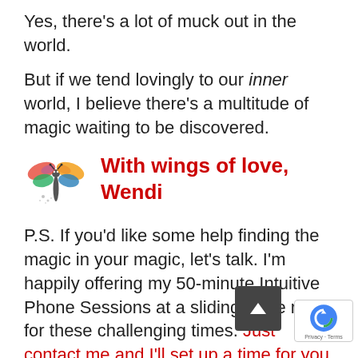Yes, there's a lot of muck out in the world.
But if we tend lovingly to our inner world, I believe there's a multitude of magic waiting to be discovered.
[Figure (illustration): Colorful dragonfly illustration with rainbow-colored wings and sparkles]
With wings of love,
Wendi
P.S. If you'd like some help finding the magic in your magic, let's talk. I'm happily offering my 50-minute Intuitive Phone Sessions at a sliding scale rate for these challenging times. Just contact me and I'll set up a time for you asap.